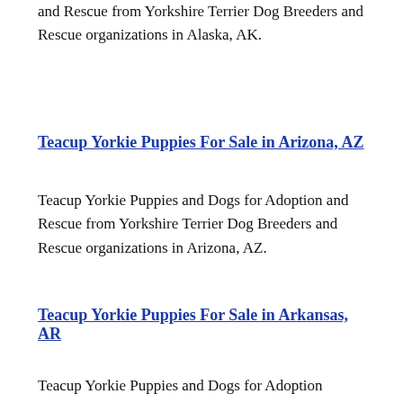and Rescue from Yorkshire Terrier Dog Breeders and Rescue organizations in Alaska, AK.
Teacup Yorkie Puppies For Sale in Arizona, AZ
Teacup Yorkie Puppies and Dogs for Adoption and Rescue from Yorkshire Terrier Dog Breeders and Rescue organizations in Arizona, AZ.
Teacup Yorkie Puppies For Sale in Arkansas, AR
Teacup Yorkie Puppies and Dogs for Adoption